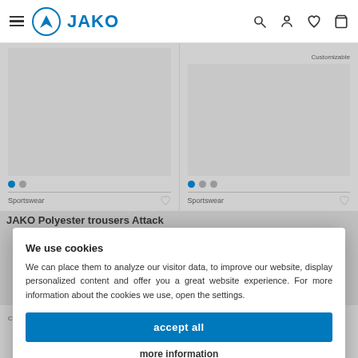[Figure (screenshot): JAKO website navigation bar with hamburger menu, JAKO logo, and icons for search, account, wishlist, and cart]
Customizable
Customizable
Sportswear
Sportswear
JAKO Polyester trousers Attack
We use cookies
We can place them to analyze our visitor data, to improve our website, display personalized content and offer you a great website experience. For more information about the cookies we use, open the settings.
accept all
more information
Privacy
Imprint
Customizable
Customizable